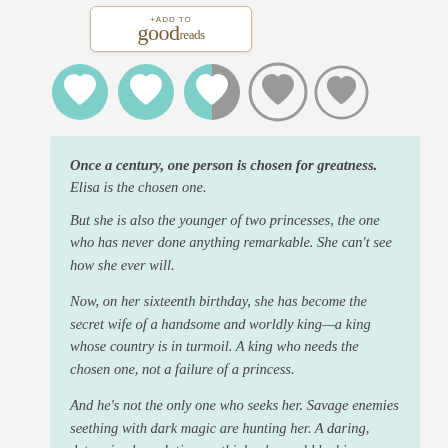[Figure (logo): Goodreads '+Add to goodreads' button badge]
[Figure (infographic): Five heart icons rating: 2.5 out of 5, first two hearts filled teal, third heart half teal/half gray, last two hearts gray outlines]
Once a century, one person is chosen for greatness. Elisa is the chosen one.

But she is also the younger of two princesses, the one who has never done anything remarkable. She can't see how she ever will.

Now, on her sixteenth birthday, she has become the secret wife of a handsome and worldly king—a king whose country is in turmoil. A king who needs the chosen one, not a failure of a princess.

And he's not the only one who seeks her. Savage enemies seething with dark magic are hunting her. A daring, determined revolutionary thinks she could be his people's savior. And he looks at